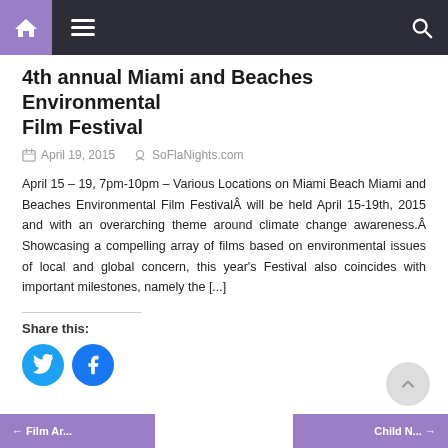Navigation bar with home, menu, and search icons
4th annual Miami and Beaches Environmental Film Festival
April 19, 2015   SoFlaNights.com
April 15 – 19, 7pm-10pm – Various Locations on Miami Beach Miami and Beaches Environmental Film FestivalÂ will be held April 15-19th, 2015 and with an overarching theme around climate change awareness.Â Showcasing a compelling array of films based on environmental issues of local and global concern, this year's Festival also coincides with important milestones, namely the [...]
Share this:
← Film Ar...   Child N... →